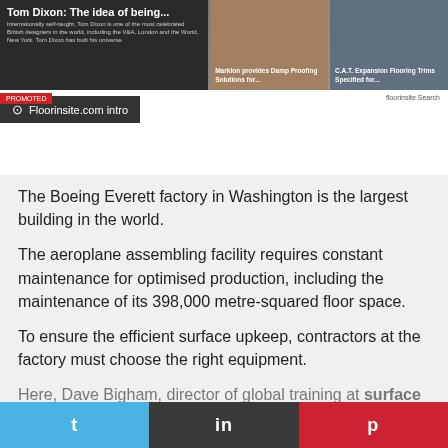[Figure (screenshot): Website screenshot of Floorinsite.com showing multiple article thumbnails including 'Tom Dixon: The idea of being...', 'Marklon provides Damp Proofing Solutions for...', and 'C.A.T. Expansion Flooring Trims Specified for...' with a search bar and navigation elements.]
Floorinsite.com intro
The Boeing Everett factory in Washington is the largest building in the world.
The aeroplane assembling facility requires constant maintenance for optimised production, including the maintenance of its 398,000 metre-squared floor space.
To ensure the efficient surface upkeep, contractors at the factory must choose the right equipment.
Here, Dave Bigham, director of global training at surface preparationequipment supplier, National Flooring
Twitter  in  Pinterest